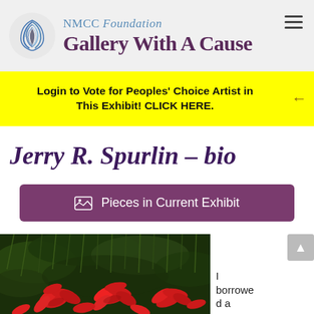NMCC Foundation Gallery With A Cause
Login to Vote for Peoples' Choice Artist in This Exhibit! CLICK HERE.
Jerry R. Spurlin – bio
Pieces in Current Exhibit
[Figure (photo): Close-up photo of red wildflowers (Indian Paintbrush) with green foliage background]
I borrowed a